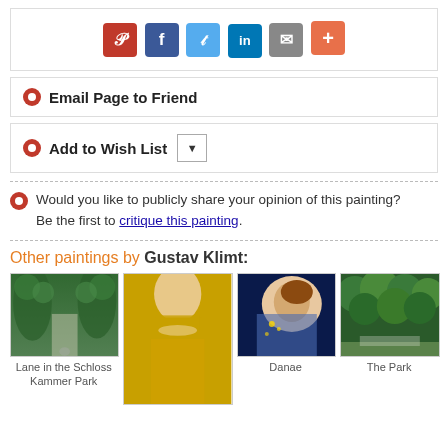[Figure (other): Social share buttons: Pinterest (red), Facebook (blue), Twitter (light blue), LinkedIn (dark blue), Email (gray), Plus (orange)]
Email Page to Friend
Add to Wish List
Would you like to publicly share your opinion of this painting? Be the first to critique this painting.
Other paintings by Gustav Klimt:
[Figure (photo): Lane in the Schloss Kammer Park - painting by Gustav Klimt showing a tree-lined path]
Lane in the Schloss Kammer Park
[Figure (photo): Judith - painting by Gustav Klimt showing a woman in gold]
[Figure (photo): Danae - painting by Gustav Klimt]
Danae
[Figure (photo): The Park - painting by Gustav Klimt showing dense green trees]
The Park